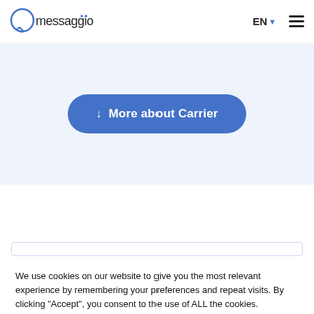messaggio | EN (language selector) | hamburger menu
[Figure (other): Blue rounded button labeled 'More about Carrier' with a downward arrow, on a light blue-gray background section]
We use cookies on our website to give you the most relevant experience by remembering your preferences and repeat visits. By clicking "Accept", you consent to the use of ALL the cookies.
Cookie settings   ACCEPT